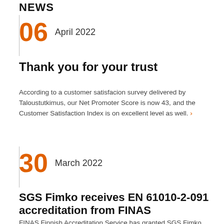NEWS
06  April 2022
Thank you for your trust
According to a customer satisfacion survey delivered by Taloustutkimus, our Net Promoter Score is now 43, and the Customer Satisfaction Index is on excellent level as well. ›
30  March 2022
SGS Fimko receives EN 61010-2-091 accreditation from FINAS
FINAS Finnish Accreditation Service has granted SGS Fimko...